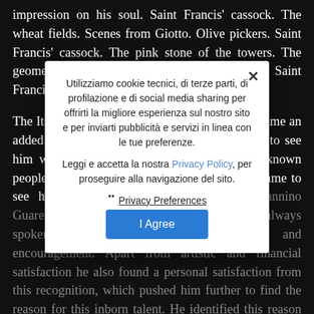impression on his soul. Saint Francis' cassock. The wheat fields. Scenes from Giotto. Olive pickers. Saint Francis' cassock. The pink stone of the towers. The geometry of the roofs. The silver olive trees. Saint Francis' cassock.
The Italy. It seems absurd but his name now became an added tourist attraction to Spello. People came to see him working, to see this new sculptor. Well known people from the world of culture and art also came to see him. During those years he met Giovannino Guareschi and Ghigo De Chiara, who have always spoken of him with esteem, admiration and encouragement. Apart from artistic and financial satisfaction he also found a personal satisfaction from this recognition, which pushed him further to find the reason for this inborn talent. He identified this reason in the very nature of the materials he used: stone, olive wood, black iron, the ancestral bond with the day-to-day habits of his homeland. Was this land the common element between his inner joy and his sculptures?
Utilizziamo cookie tecnici, di terze parti, di profilazione e di social media sharing per offrirti la migliore esperienza sul nostro sito e per inviarti pubblicità e servizi in linea con le tue preferenze. Leggi e accetta la nostra Privacy Policy, per proseguire alla navigazione del sito.
Privacy Preferences
I Agree